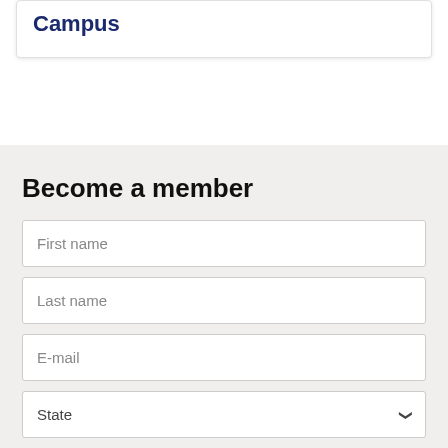Campus
Become a member
First name
Last name
E-mail
State
Postcode